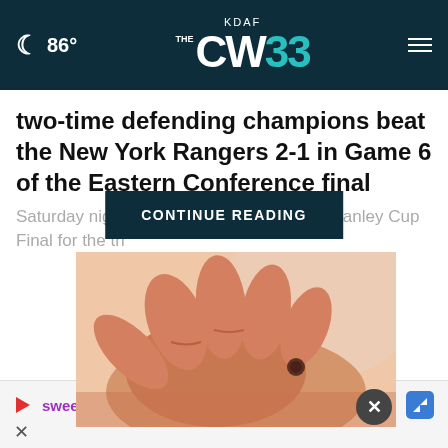86° KDAF THE CW 33
two-time defending champions beat the New York Rangers 2-1 in Game 6 of the Eastern Conference final Saturday night ... tanley Cup Final for the th...
CONTINUE READING
[Figure (photo): Close-up photo of a hand touching a mole on skin]
sweetFrog ✓ Dine-in ✓ Takeout ✓ Delivery